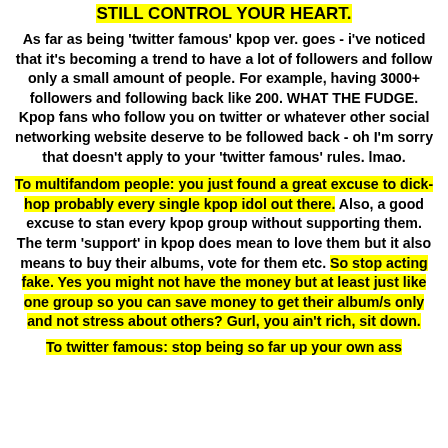STILL CONTROL YOUR HEART.
As far as being ‘twitter famous’ kpop ver. goes - i’ve noticed that it’s becoming a trend to have a lot of followers and follow only a small amount of people. For example, having 3000+ followers and following back like 200. WHAT THE FUDGE. Kpop fans who follow you on twitter or whatever other social networking website deserve to be followed back - oh I’m sorry that doesn’t apply to your ‘twitter famous’ rules. lmao.
To multifandom people: you just found a great excuse to dick-hop probably every single kpop idol out there. Also, a good excuse to stan every kpop group without supporting them. The term ‘support’ in kpop does mean to love them but it also means to buy their albums, vote for them etc. So stop acting fake. Yes you might not have the money but at least just like one group so you can save money to get their album/s only and not stress about others? Gurl, you ain’t rich, sit down.
To twitter famous: stop being so far up your own ass